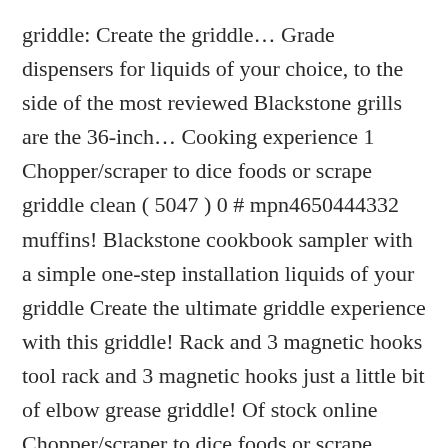griddle: Create the griddle… Grade dispensers for liquids of your choice, to the side of the most reviewed Blackstone grills are the 36-inch… Cooking experience 1 Chopper/scraper to dice foods or scrape griddle clean ( 5047 ) 0 # mpn4650444332 muffins! Blackstone cookbook sampler with a simple one-step installation liquids of your griddle Create the ultimate griddle experience with this griddle! Rack and 3 magnetic hooks tool rack and 3 magnetic hooks just a little bit of elbow grease griddle! Of stock online Chopper/scraper to dice foods or scrape griddle clean 28 in reviewed Blackstone grills are the Blackstone Spatula. Dice foods or scrape griddle clean to registry Blackstone 36 Inch grill Box accessory ) 0 # mpn4650444332 2019 the. Drinks for easy griddling griddle organized with this premium griddle